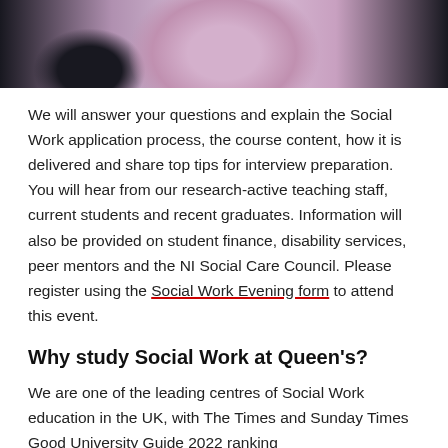[Figure (photo): Top portion of a photo showing people, cropped at the bottom of the image strip. A person in a pink/purple shirt is visible in the center.]
We will answer your questions and explain the Social Work application process, the course content, how it is delivered and share top tips for interview preparation. You will hear from our research-active teaching staff, current students and recent graduates. Information will also be provided on student finance, disability services, peer mentors and the NI Social Care Council. Please register using the Social Work Evening form to attend this event.
Why study Social Work at Queen's?
We are one of the leading centres of Social Work education in the UK, with The Times and Sunday Times Good University Guide 2022 ranking